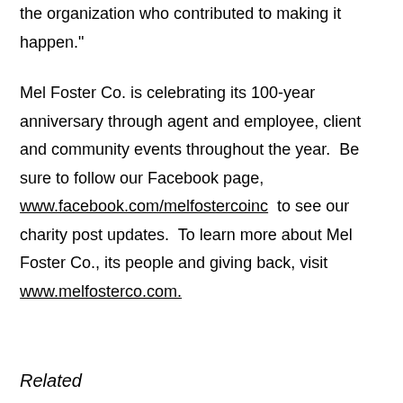the organization who contributed to making it happen."
Mel Foster Co. is celebrating its 100-year anniversary through agent and employee, client and community events throughout the year.  Be sure to follow our Facebook page, www.facebook.com/melfostercoinc  to see our charity post updates.  To learn more about Mel Foster Co., its people and giving back, visit www.melfosterco.com.
Related